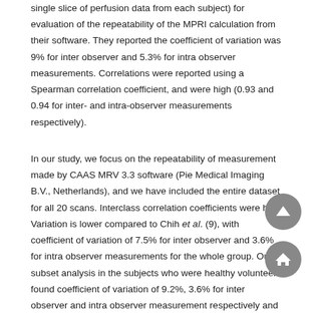single slice of perfusion data from each subject) for evaluation of the repeatability of the MPRI calculation from their software. They reported the coefficient of variation was 9% for inter observer and 5.3% for intra observer measurements. Correlations were reported using a Spearman correlation coefficient, and were high (0.93 and 0.94 for inter- and intra-observer measurements respectively).
In our study, we focus on the repeatability of measurement made by CAAS MRV 3.3 software (Pie Medical Imaging B.V., Netherlands), and we have included the entire dataset for all 20 scans. Interclass correlation coefficients were high. Variation is lower compared to Chih et al. (9), with coefficient of variation of 7.5% for inter observer and 3.6% for intra observer measurements for the whole group. Our subset analysis in the subjects who were healthy volunteers found coefficient of variation of 9.2%, 3.6% for inter observer and intra observer measurement respectively and lower values were observed for the women with angina and open arteries (5.2% and 2.2% for